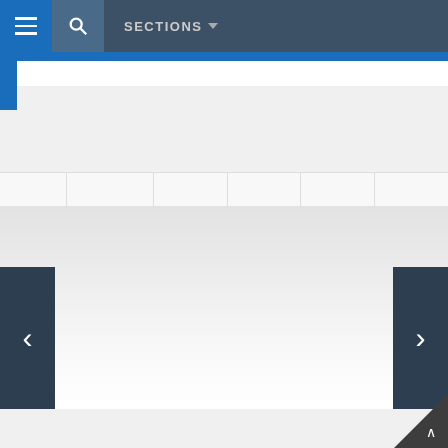SECTIONS
[Figure (screenshot): Reaction widget with LIKE heart icon, WHAT'S YOUR REACTION prompt, and four emoji reactions: SUPER 0%, NOT BAD 0%, WHAT? 0%, HATE IT 0%]
[Figure (screenshot): Carousel navigation with left and right arrow buttons on dark background panels]